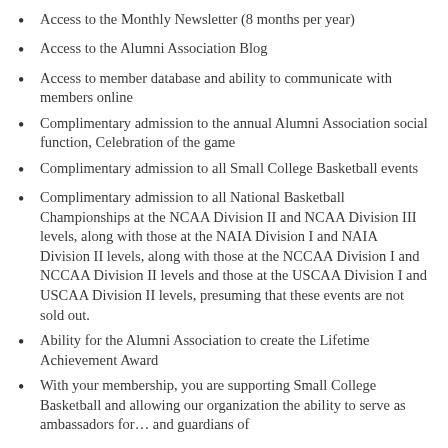Access to the Monthly Newsletter (8 months per year)
Access to the Alumni Association Blog
Access to member database and ability to communicate with members online
Complimentary admission to the annual Alumni Association social function, Celebration of the game
Complimentary admission to all Small College Basketball events
Complimentary admission to all National Basketball Championships at the NCAA Division II and NCAA Division III levels, along with those at the NAIA Division I and NAIA Division II levels, along with those at the NCCAA Division I and NCCAA Division II levels and those at the USCAA Division I and USCAA Division II levels, presuming that these events are not sold out.
Ability for the Alumni Association to create the Lifetime Achievement Award
With your membership, you are supporting Small College Basketball and allowing our organization the ability to serve as ambassadors for… and guardians of